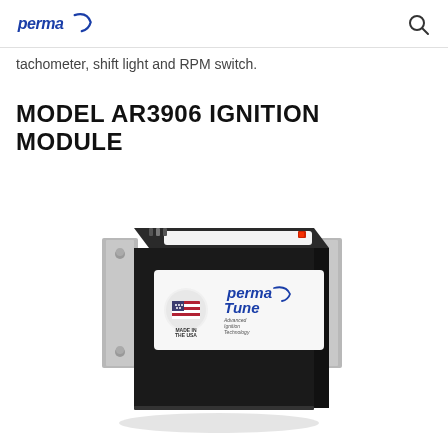perma (logo)
tachometer, shift light and RPM switch.
MODEL AR3906 IGNITION MODULE
[Figure (photo): Photo of a Perma-Tune Model AR3906 ignition module — a dark grey/black metal box mounted on a silver bracket, with a white label showing the Perma-Tune logo (Advanced Ignition Technology) and a small Made-in-USA flag seal, and a red LED indicator on top.]